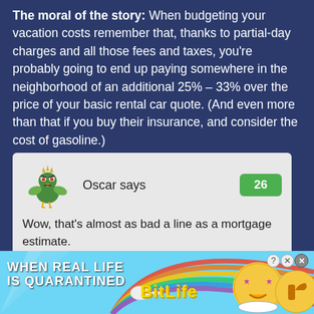The moral of the story: When budgeting your vacation costs remember that, thanks to partial-day charges and all those fees and taxes, you're probably going to end up paying somewhere in the neighborhood of an additional 25% – 33% over the price of your basic rental car quote. (And even more than that if you buy their insurance, and consider the cost of gasoline.)
[Figure (illustration): Comment box with Oscar's cartoon bird avatar, green badge showing '26', and comment text: 'Wow, that's almost as bad a line as a mortgage estimate.']
[Figure (infographic): Advertisement banner: 'WHEN REAL LIFE IS QUARANTINED' with BitLife logo, rainbow background, and emoji/character icons on the right.]